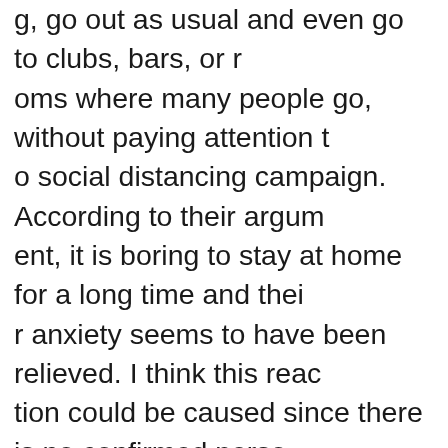g, go out as usual and even go to clubs, bars, or rooms where many people go, without paying attention to social distancing campaign. According to their argument, it is boring to stay at home for a long time and their anxiety seems to have been relieved. I think this reaction could be caused since there is no confirmed person near them. Also, young people misunderstand they can overcome it even if they are infected with the virus. However, do not let your guard down and realize misunderstanding is just misunderstanding.

First, statistically, the confirmed number of people in their 20s exceeds 20 percent of the total, accounting for the highest percentage. Even though many of them are believers in Shincheonji, the fact that people in their 20s are infected, too, with the virus remains. Also, if they are infected, their family, friends, neighbors, e